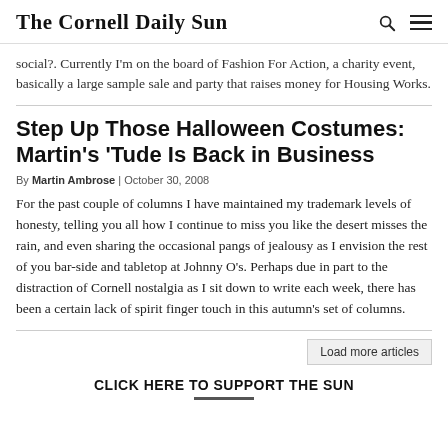The Cornell Daily Sun
social?. Currently I'm on the board of Fashion For Action, a charity event, basically a large sample sale and party that raises money for Housing Works.
Step Up Those Halloween Costumes: Martin's 'Tude Is Back in Business
By Martin Ambrose | October 30, 2008
For the past couple of columns I have maintained my trademark levels of honesty, telling you all how I continue to miss you like the desert misses the rain, and even sharing the occasional pangs of jealousy as I envision the rest of you bar-side and tabletop at Johnny O's. Perhaps due in part to the distraction of Cornell nostalgia as I sit down to write each week, there has been a certain lack of spirit finger touch in this autumn's set of columns.
Load more articles
CLICK HERE TO SUPPORT THE SUN